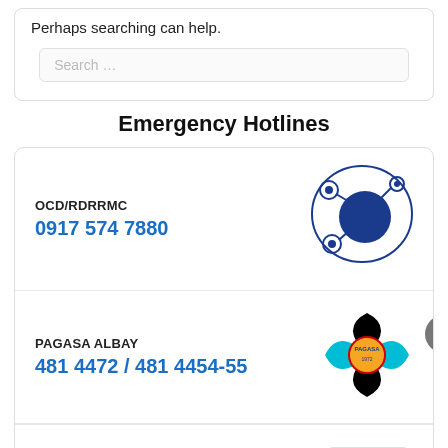Perhaps searching can help.
Search …
Emergency Hotlines
OCD/RDRRMC
0917 574 7880
[Figure (logo): OCD/RDRRMC logo: blue circles connected by lines in a network pattern inside an oval outline]
PAGASA ALBAY
481 4472 / 481 4454-55
[Figure (logo): PAGASA logo: four-petal flower shape with black and teal/cyan quadrants, with a circular emblem in the center]
[Figure (logo): ALBAY logo badge: text ALBAY in blue italic letters inside a rounded rectangle border]